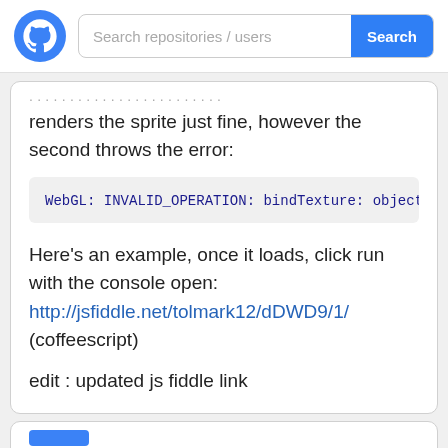Search repositories / users [Search button]
renders the sprite just fine, however the second throws the error:
WebGL: INVALID_OPERATION: bindTexture: object n
Here's an example, once it loads, click run with the console open:
http://jsfiddle.net/tolmark12/dDWD9/1/
(coffeescript)
edit : updated js fiddle link